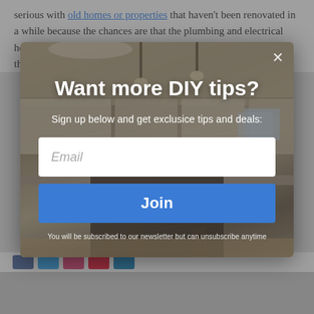serious with old homes or properties that haven't been renovated in a while because the chances are that the plumbing and electrical here are in catastrophic condition. That's why you need to do two things before moving in – get a professional to check the
[Figure (screenshot): Modal popup overlay on a webpage showing a kitchen background image with 'Want more DIY tips?' heading, subtitle 'Sign up below and get exclusice tips and deals:', an email input field, a blue 'Join' button, and fine print about newsletter subscription. A close (X) button is in the top right corner.]
You will be subscribed to our newsletter but can unsubscribe anytime